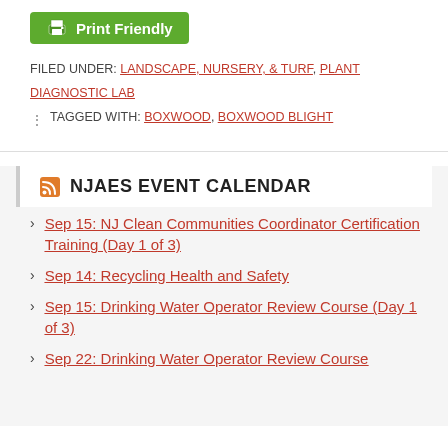[Figure (other): Print Friendly green button with printer icon]
FILED UNDER: LANDSCAPE, NURSERY, & TURF, PLANT DIAGNOSTIC LAB
TAGGED WITH: BOXWOOD, BOXWOOD BLIGHT
NJAES EVENT CALENDAR
Sep 15: NJ Clean Communities Coordinator Certification Training (Day 1 of 3)
Sep 14: Recycling Health and Safety
Sep 15: Drinking Water Operator Review Course (Day 1 of 3)
Sep 22: Drinking Water Operator Review Course